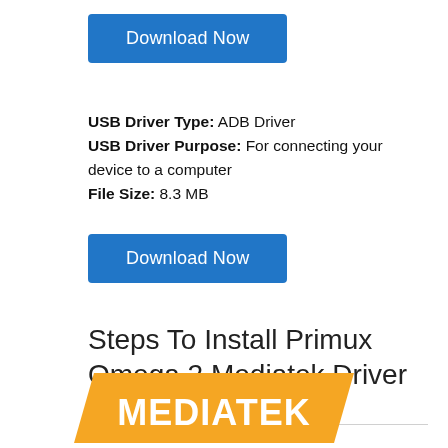[Figure (other): Download Now button (top) - blue rectangular button with white text]
USB Driver Type: ADB Driver
USB Driver Purpose: For connecting your device to a computer
File Size: 8.3 MB
[Figure (other): Download Now button (bottom) - blue rectangular button with white text]
Steps To Install Primux Omega 2 Mediatek Driver In Computer
Video Tutorial
[Figure (logo): MediaTek logo - orange parallelogram background with white bold MEDIATEK text]